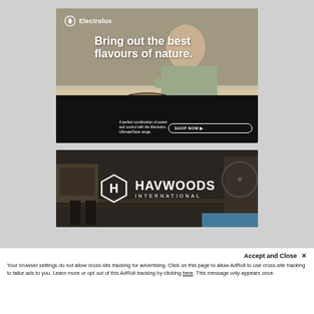[Figure (photo): Electrolux advertisement showing a man cooking on an induction hob with the tagline 'Bring out the best flavours of nature.' with a SHOP NOW button and text about the UltimateTaste range.]
[Figure (photo): Havwoods International advertisement showing a dark interior with the Havwoods International hexagon logo and brand name.]
Accept and Close ✕
Your browser settings do not allow cross-site tracking for advertising. Click on this page to allow AdRoll to use cross-site tracking to tailor ads to you. Learn more or opt out of this AdRoll tracking by clicking here. This message only appears once.